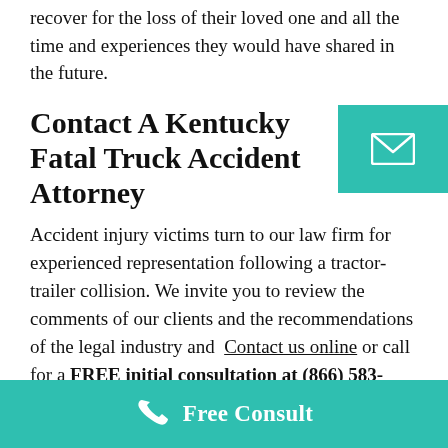recover for the loss of their loved one and all the time and experiences they would have shared in the future.
Contact A Kentucky Fatal Truck Accident Attorney
Accident injury victims turn to our law firm for experienced representation following a tractor-trailer collision. We invite you to review the comments of our clients and the recommendations of the legal industry and Contact us online or call for a FREE initial consultation at (866) 583-9701 or come for a visit at our Louisville-based law office.
Free Consult